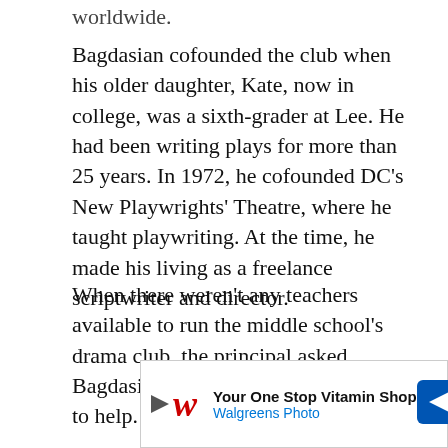worldwide.
Bagdasian cofounded the club when his older daughter, Kate, now in college, was a sixth-grader at Lee. He had been writing plays for more than 25 years. In 1972, he cofounded DC's New Playwrights' Theatre, where he taught playwriting. At the time, he made his living as a freelance scriptwriter and director.
When there weren't any teachers available to run the middle school's drama club, the principal asked Bagdasian and parent Lisa Levin Itté to help. They would share a small
[Figure (infographic): Walgreens Photo advertisement banner: 'Your One Stop Vitamin Shop' with Walgreens Photo logo and navigation arrow icon]